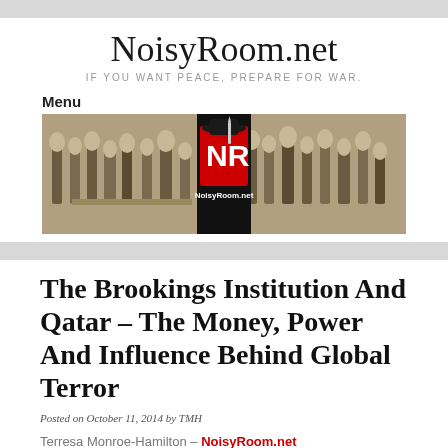NoisyRoom.net
IF YOU WANT PEACE, PREPARE FOR WAR.
Menu
[Figure (illustration): NoisyRoom.net website banner showing historical painting of men in debate on left and right sides, with NoisyRoom.net logo (NR with a hat and knife) in the center on a dark background.]
The Brookings Institution And Qatar – The Money, Power And Influence Behind Global Terror
Posted on October 11, 2014 by TMH
Terresa Monroe-Hamilton – NoisyRoom.net